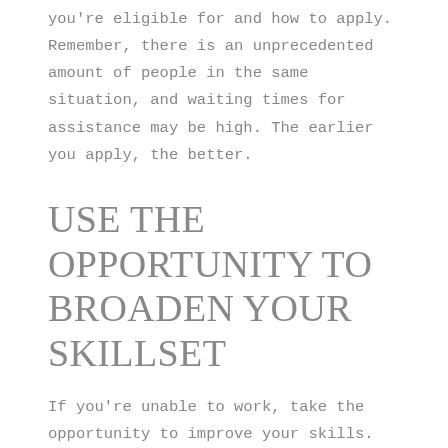you're eligible for and how to apply. Remember, there is an unprecedented amount of people in the same situation, and waiting times for assistance may be high. The earlier you apply, the better.
USE THE OPPORTUNITY TO BROADEN YOUR SKILLSET
If you're unable to work, take the opportunity to improve your skills. By taking online courses, you could gain experience that you could use to give